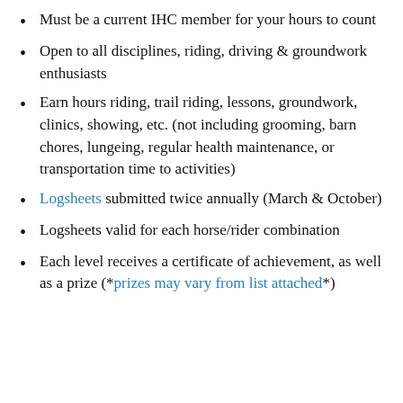Must be a current IHC member for your hours to count
Open to all disciplines, riding, driving & groundwork enthusiasts
Earn hours riding, trail riding, lessons, groundwork, clinics, showing, etc. (not including grooming, barn chores, lungeing, regular health maintenance, or transportation time to activities)
Logsheets submitted twice annually (March & October)
Logsheets valid for each horse/rider combination
Each level receives a certificate of achievement, as well as a prize (*prizes may vary from list attached*)